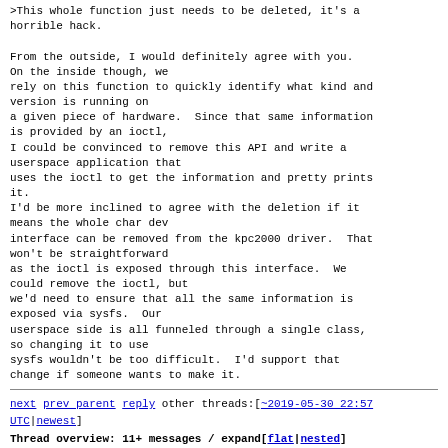>This whole function just needs to be deleted, it's a horrible hack.

From the outside, I would definitely agree with you.  On the inside though, we
rely on this function to quickly identify what kind and version is running on
a given piece of hardware.  Since that same information is provided by an ioctl,
I could be convinced to remove this API and write a
userspace application that
uses the ioctl to get the information and pretty prints
it.
I'd be more inclined to agree with the deletion if it
means the whole char dev
interface can be removed from the kpc2000 driver.  That
won't be straightforward
as the ioctl is exposed through this interface.  We
could remove the ioctl, but
we'd need to ensure that all the same information is
exposed via sysfs.  Our
userspace side is all funneled through a single class,
so changing it to use
sysfs wouldn't be too difficult.  I'd support that
change if someone wants to make it.
next  prev parent  reply   other threads:[~2019-05-30 22:57 UTC|newest]
Thread overview: 11+ messages / expand[flat|nested]